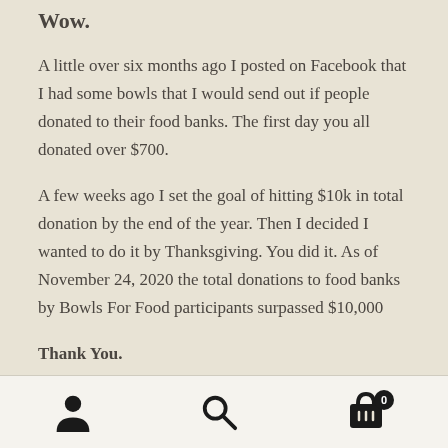Wow.
A little over six months ago I posted on Facebook that I had some bowls that I would send out if people donated to their food banks. The first day you all donated over $700.
A few weeks ago I set the goal of hitting $10k in total donation by the end of the year. Then I decided I wanted to do it by Thanksgiving. You did it. As of November 24, 2020 the total donations to food banks by Bowls For Food participants surpassed $10,000
Thank You.
Navigation icons: user, search, cart (0)